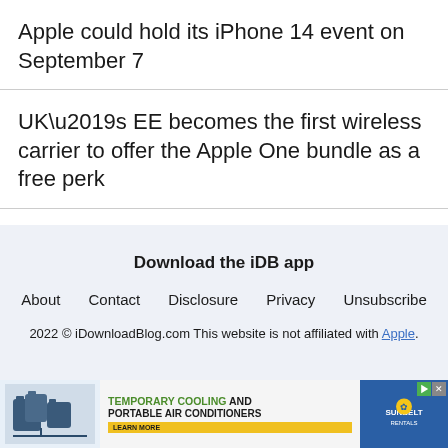Apple could hold its iPhone 14 event on September 7
UK’s EE becomes the first wireless carrier to offer the Apple One bundle as a free perk
Download the iDB app
About  Contact  Disclosure  Privacy  Unsubscribe
2022 © iDownloadBlog.com This website is not affiliated with Apple.
[Figure (other): Advertisement banner: Temporary Cooling and Portable Air Conditioners with LEARN MORE button and Sunbelt Rentals logo]